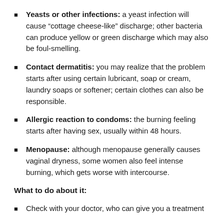Yeasts or other infections: a yeast infection will cause “cottage cheese-like” discharge; other bacteria can produce yellow or green discharge which may also be foul-smelling.
Contact dermatitis: you may realize that the problem starts after using certain lubricant, soap or cream, laundry soaps or softener; certain clothes can also be responsible.
Allergic reaction to condoms: the burning feeling starts after having sex, usually within 48 hours.
Menopause: although menopause generally causes vaginal dryness, some women also feel intense burning, which gets worse with intercourse.
What to do about it:
Check with your doctor, who can give you a treatment